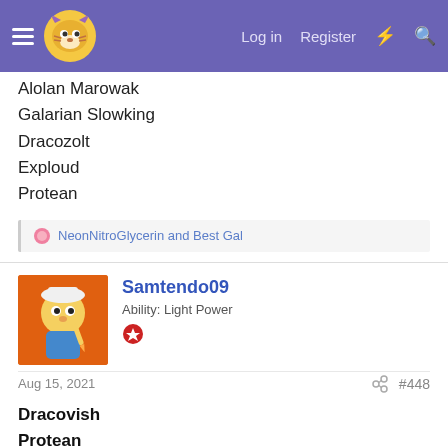Log in  Register
Alolan Marowak
Galarian Slowking
Dracozolt
Exploud
Protean
NeonNitroGlycerin and Best Gal
Samtendo09
Ability: Light Power
Aug 15, 2021  #448
Dracovish
Protean
Flygon
Slowking-Galar
Marowak-Alola
Exploud